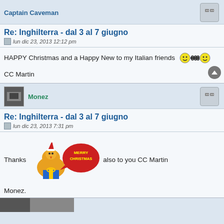Captain Caveman
Re: Inghilterra - dal 3 al 7 giugno
lun dic 23, 2013 12:12 pm
HAPPY Christmas and a Happy New to my Italian friends
CC Martin
Monez
Re: Inghilterra - dal 3 al 7 giugno
lun dic 23, 2013 7:31 pm
Thanks   also to you CC Martin
Monez.